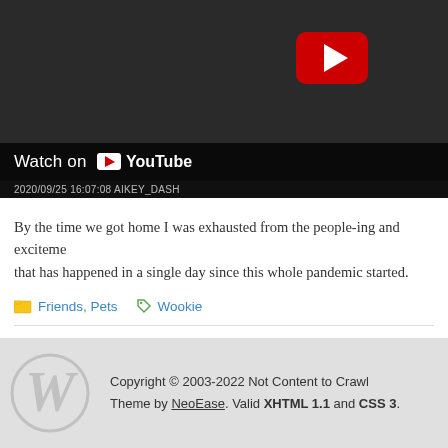[Figure (screenshot): YouTube embedded video thumbnail showing a dashcam view of a street scene. A red YouTube play button is visible in the upper right area. A 'Watch on YouTube' bar is shown at the bottom of the video with a small YouTube icon. A timestamp '2020/09/25 16:07:08 AIKEY_DASH' appears below that.]
By the time we got home I was exhausted from the people-ing and excitement. that has happened in a single day since this whole pandemic started.
Friends, Pets   Wookie
Copyright © 2003-2022 Not Content to Crawl
Theme by NeoEase. Valid XHTML 1.1 and CSS 3.